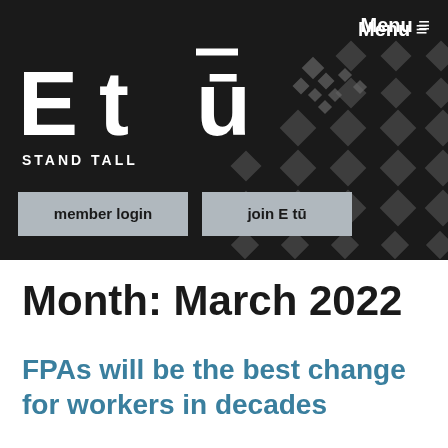E tū STAND TALL — Menu ≡
[Figure (logo): E tū union logo with STAND TALL tagline on black background with grey cross pattern. Menu button top right. Two buttons: member login and join E tū.]
Month: March 2022
FPAs will be the best change for workers in decades